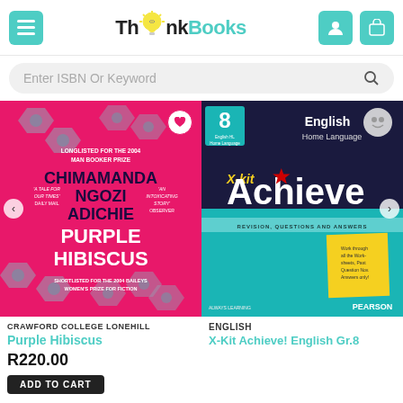ThinkBooks
Enter ISBN Or Keyword
[Figure (screenshot): Book cover: Purple Hibiscus by Chimamanda Ngozi Adichie, pink/magenta cover with hexagonal bolt patterns]
CRAWFORD COLLEGE LONEHILL
Purple Hibiscus
R220.00
ADD TO CART
[Figure (screenshot): Book cover: X-Kit Achieve English Home Language Grade 8, teal and dark blue cover, Pearson publisher]
ENGLISH
X-Kit Achieve! English Gr.8